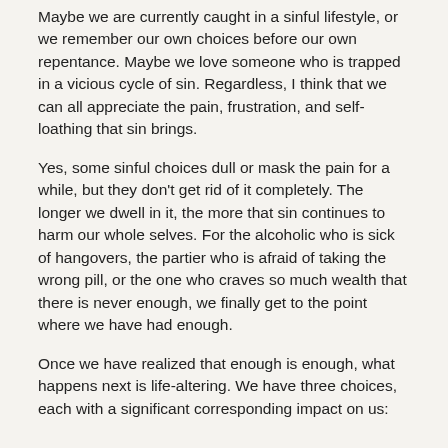Maybe we are currently caught in a sinful lifestyle, or we remember our own choices before our own repentance. Maybe we love someone who is trapped in a vicious cycle of sin.  Regardless, I think that we can all appreciate the pain, frustration, and self-loathing that sin brings.
Yes, some sinful choices dull or mask the pain for a while, but they don't get rid of it completely.  The longer we dwell in it, the more that sin continues to harm our whole selves.  For the alcoholic who is sick of hangovers, the partier who is afraid of taking the wrong pill, or the one who craves so much wealth that there is never enough, we finally get to the point where we have had enough.
Once we have realized that enough is enough, what happens next is life-altering.  We have three choices, each with a significant corresponding impact on us: